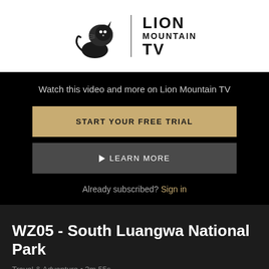[Figure (logo): Lion Mountain TV logo with lion illustration and text LION MOUNTAIN TV]
Watch this video and more on Lion Mountain TV
START YOUR FREE TRIAL
▷ LEARN MORE
Already subscribed? Sign in
WZ05 - South Luangwa National Park
Travel & Adventure • 3m 55s